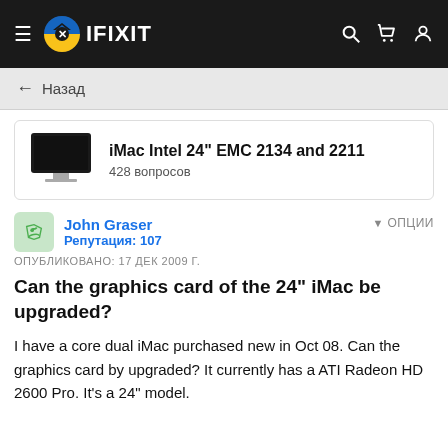IFIXIT
← Назад
[Figure (screenshot): iMac Intel 24" device listing card with thumbnail image, title 'iMac Intel 24" EMC 2134 and 2211', and '428 вопросов']
John Graser
Репутация: 107
ОПЦИИ
ОПУБЛИКОВАНО: 17 ДЕК 2009 Г.
Can the graphics card of the 24" iMac be upgraded?
I have a core dual iMac purchased new in Oct 08. Can the graphics card by upgraded? It currently has a ATI Radeon HD 2600 Pro. It's a 24" model.